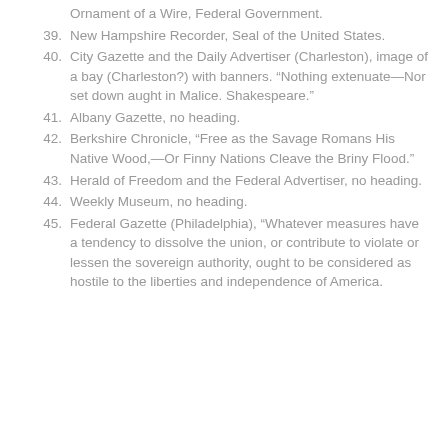Ornament of a Wire, Federal Government.
39. New Hampshire Recorder, Seal of the United States.
40. City Gazette and the Daily Advertiser (Charleston), image of a bay (Charleston?) with banners. “Nothing extenuate—Nor set down aught in Malice. Shakespeare.”
41. Albany Gazette, no heading.
42. Berkshire Chronicle, “Free as the Savage Romans His Native Wood,—Or Finny Nations Cleave the Briny Flood.”
43. Herald of Freedom and the Federal Advertiser, no heading.
44. Weekly Museum, no heading.
45. Federal Gazette (Philadelphia), “Whatever measures have a tendency to dissolve the union, or contribute to violate or lessen the sovereign authority, ought to be considered as hostile to the liberties and independence of America.